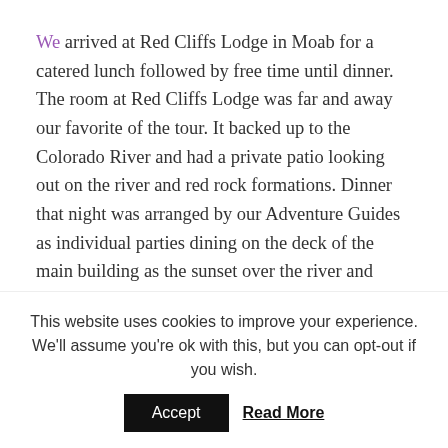We arrived at Red Cliffs Lodge in Moab for a catered lunch followed by free time until dinner. The room at Red Cliffs Lodge was far and away our favorite of the tour. It backed up to the Colorado River and had a private patio looking out on the river and red rock formations. Dinner that night was arranged by our Adventure Guides as individual parties dining on the deck of the main building as the sunset over the river and cliffs.
The next morning was our drive into Moab National Park to view the rock formations and have a local expert explain all that we were seeing. We elected to hike up to
This website uses cookies to improve your experience. We'll assume you're ok with this, but you can opt-out if you wish.